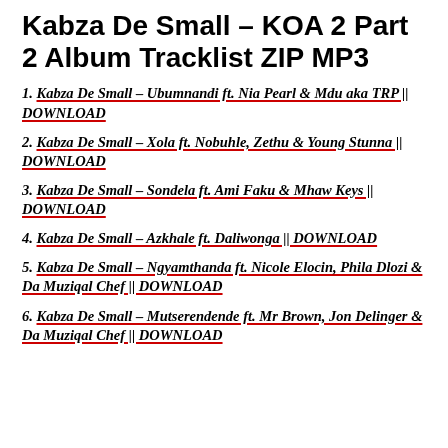Kabza De Small – KOA 2 Part 2 Album Tracklist ZIP MP3
1. Kabza De Small – Ubumnandi ft. Nia Pearl & Mdu aka TRP || DOWNLOAD
2. Kabza De Small – Xola ft. Nobuhle, Zethu & Young Stunna || DOWNLOAD
3. Kabza De Small – Sondela ft. Ami Faku & Mhaw Keys || DOWNLOAD
4. Kabza De Small – Azkhale ft. Daliwonga || DOWNLOAD
5. Kabza De Small – Ngyamthanda ft. Nicole Elocin, Phila Dlozi & Da Muziqal Chef || DOWNLOAD
6. Kabza De Small – Mutserendende ft. Mr Brown, Jon Delinger & Da Muziqal Chef || DOWNLOAD